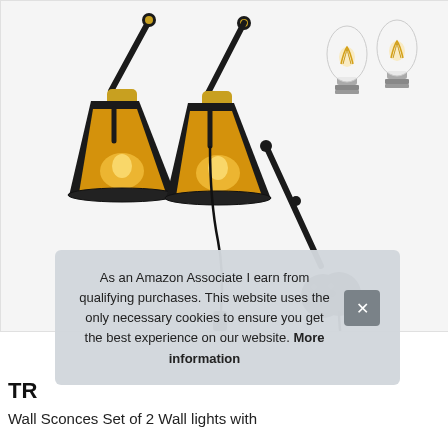[Figure (photo): Two black industrial swing-arm wall sconce lamps with gold/brass accent at the pivot, black conical shades showing warm Edison bulb glow inside, each with a black cord ending in a 2-prong plug. Top right shows two glass Edison LED bulbs separately. Light grey background.]
As an Amazon Associate I earn from qualifying purchases. This website uses the only necessary cookies to ensure you get the best experience on our website. More information
TR
Wall Sconces Set of 2 Wall lights with